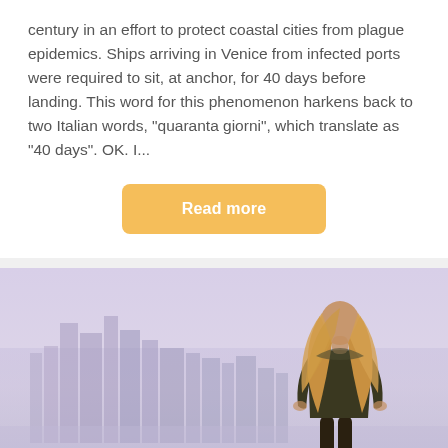century in an effort to protect coastal cities from plague epidemics. Ships arriving in Venice from infected ports were required to sit, at anchor, for 40 days before landing. This word for this phenomenon harkens back to two Italian words, "quaranta giorni", which translate as "40 days". OK. I...
Read more
[Figure (photo): A woman with long blonde hair viewed from behind, wearing a dark jacket, standing and looking at a hazy city skyline with tall buildings in the background.]
Thriving with Covid